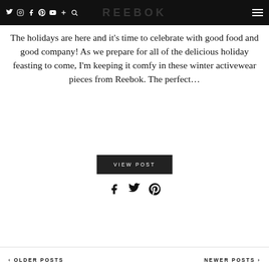REEBOK [navigation bar with social icons and hamburger menu]
The holidays are here and it's time to celebrate with good food and good company! As we prepare for all of the delicious holiday feasting to come, I'm keeping it comfy in these winter activewear pieces from Reebok. The perfect...
VIEW POST
[social share icons: Facebook, Twitter, Pinterest]
< OLDER POSTS    NEWER POSTS >